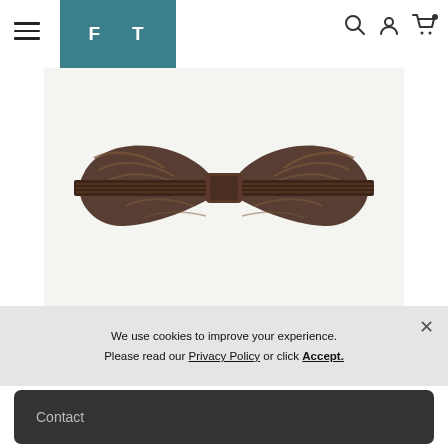FT navigation with hamburger menu, logo, search, account, cart icons
[Figure (photo): A brown striped bow tie with diagonal stripe pattern on a white/cream background]
We use cookies to improve your experience. Please read our Privacy Policy or click Accept.
Contact